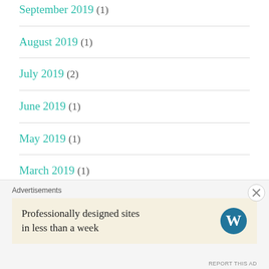September 2019 (1)
August 2019 (1)
July 2019 (2)
June 2019 (1)
May 2019 (1)
March 2019 (1)
February 2019 (15)
Advertisements
Professionally designed sites in less than a week